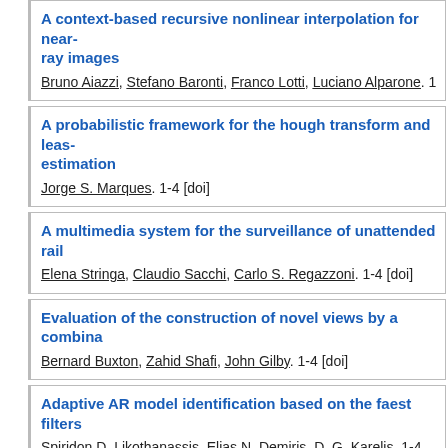A context-based recursive nonlinear interpolation for near-ray images. Bruno Aiazzi, Stefano Baronti, Franco Lotti, Luciano Alparone.
A probabilistic framework for the hough transform and leas- estimation. Jorge S. Marques. 1-4 [doi]
A multimedia system for the surveillance of unattended rail. Elena Stringa, Claudio Sacchi, Carlo S. Regazzoni. 1-4 [doi]
Evaluation of the construction of novel views by a combina. Bernard Buxton, Zahid Shafi, John Gilby. 1-4 [doi]
Adaptive AR model identification based on the faest filters. Spiridon D. Likothanassis, Elias N. Demiris, D. G. Karelis. 1-4 [d
Motion estimation and modeling for video sequences